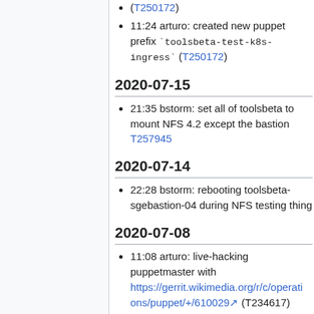(T250172)
11:24 arturo: created new puppet prefix `toolsbeta-test-k8s-ingress` (T250172)
2020-07-15
21:35 bstorm: set all of toolsbeta to mount NFS 4.2 except the bastion T257945
2020-07-14
22:28 bstorm: rebooting toolsbeta-sgebastion-04 during NFS testing thing
2020-07-08
11:08 arturo: live-hacking puppetmaster with https://gerrit.wikimedia.org/r/c/operations/puppet/+/610029 (T234617)